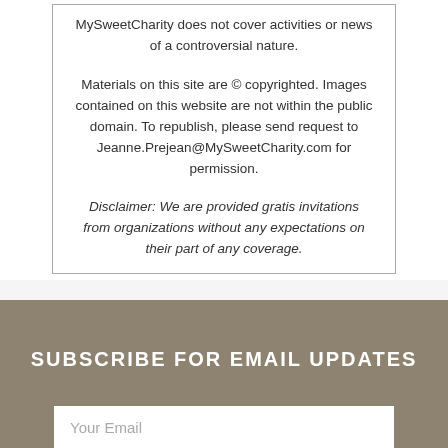MySweetCharity does not cover activities or news of a controversial nature.
Materials on this site are © copyrighted. Images contained on this website are not within the public domain. To republish, please send request to Jeanne.Prejean@MySweetCharity.com for permission.
Disclaimer: We are provided gratis invitations from organizations without any expectations on their part of any coverage.
SUBSCRIBE FOR EMAIL UPDATES
Your Email